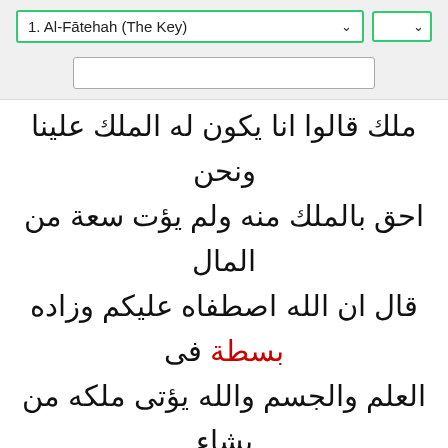1. Al-Fātehah (The Key)
[Figure (screenshot): Search input box]
ملك قالوا انا يكون له الملك علينا ونحن احق بالملك منه ولم يؤت سعة من المال قال ان الله اصطفاه عليكم وزاده بسطة فى العلم والجسم والله يؤتى ملكه من يشاء والله واسع عليم
5   7:69
Why, do you deem it strange that a tiding from your Sustainer should have come unto you through a man from among yourselves, so that he might warn you? Do but remember how He made you heirs to Noah's people,